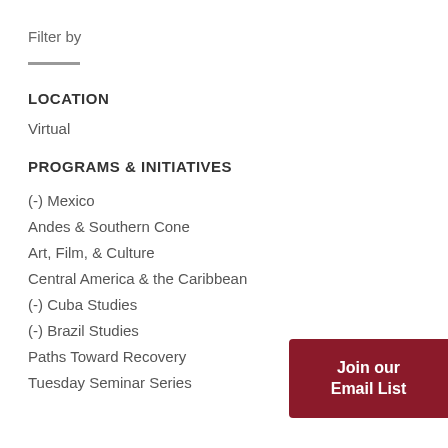Filter by
LOCATION
Virtual
PROGRAMS & INITIATIVES
(-) Mexico
Andes & Southern Cone
Art, Film, & Culture
Central America & the Caribbean
(-) Cuba Studies
(-) Brazil Studies
Paths Toward Recovery
Tuesday Seminar Series
Join our Email List